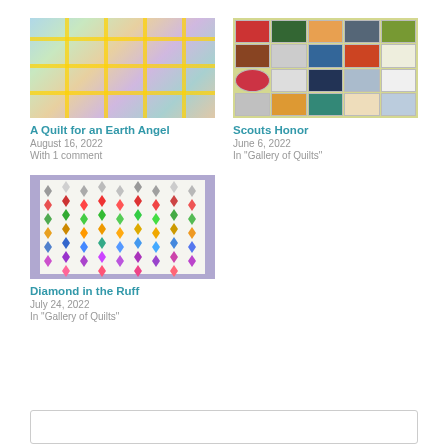[Figure (photo): A colorful patchwork quilt with diagonal pattern and yellow grid lines laid on grass]
A Quilt for an Earth Angel
August 16, 2022
With 1 comment
[Figure (photo): A quilt made of scout badges/patches arranged in a grid on grass]
Scouts Honor
June 6, 2022
In "Gallery of Quilts"
[Figure (photo): A quilt with colorful diamond pattern arranged in vertical columns on grass]
Diamond in the Ruff
July 24, 2022
In "Gallery of Quilts"